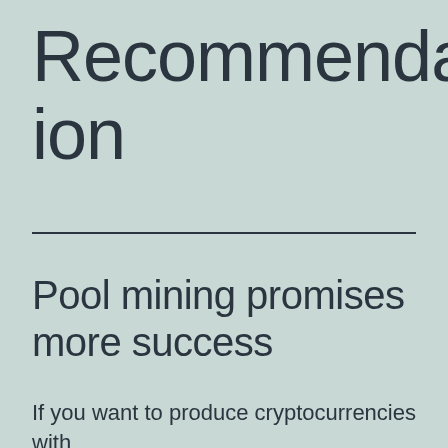Recommendation
Pool mining promises more success
If you want to produce cryptocurrencies with more success, you can do so with a mining pool